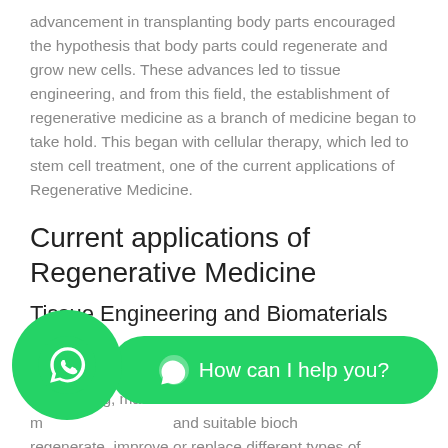advancement in transplanting body parts encouraged the hypothesis that body parts could regenerate and grow new cells. These advances led to tissue engineering, and from this field, the establishment of regenerative medicine as a branch of medicine began to take hold. This began with cellular therapy, which led to stem cell treatment, one of the current applications of Regenerative Medicine.
Current applications of Regenerative Medicine
Tissue Engineering and Biomaterials
Tissue engineering is one of the current uses of Regenerative Medicine. Utilizes a combination of cells, engineering, materials and suitable biochemical and physiochemical factors to regenerate, improve or replace different types of biological tissues.